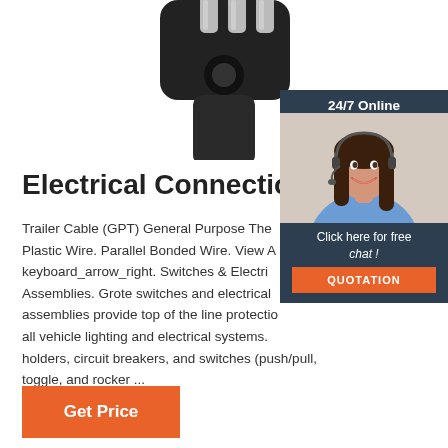[Figure (photo): Close-up photo of black electrical connector/plug with metal pins on white background, cropped at top]
[Figure (photo): 24/7 Online chat widget showing a woman with headset smiling, with dark navy background, 'Click here for free chat!' text and orange QUOTATION button]
Electrical Connections
Trailer Cable (GPT) General Purpose The Plastic Wire. Parallel Bonded Wire. View A keyboard_arrow_right. Switches & Electri Assemblies. Grote switches and electrical assemblies provide top of the line protectio all vehicle lighting and electrical systems. holders, circuit breakers, and switches (push/pull, toggle, and rocker ...
Get Price